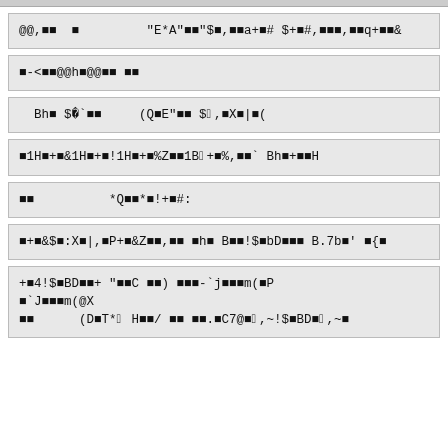@@,■■  ■         "E*A"■■"$■,■■a+■# $+■#,■■■,■■q+■■&
■-<■■@@h■@@■■ ■■
Bh■ $■71`■■     (Q■E"■■ $■9,■X■|■(
■1H■+■&1H■+■!1H■+■%Z■■1B■7+■%,■■` Bh■+■■H
■■          *Q■■*■!+■#:
■+■&$■:X■|,■P+■&Z■■,■■ ■h■ B■■!$■bD■■■ B.7b■' ■{■
+■4!$■BD■■+ "■■C ■■) ■■■-`j■■■m(■P
■`J■■■m(@X
■■      (D■T*■2 H■■/ ■■ ■■.■C7@■■2,~!$■BD■■4,~■